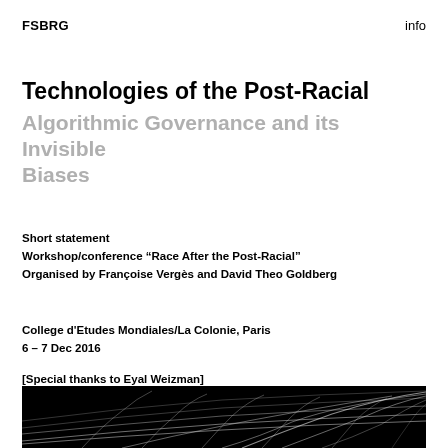FSBRG    info
Technologies of the Post-Racial
Algorithmic Governance and its Invisible Biases
Short statement
Workshop/conference “Race After the Post-Racial”
Organised by Françoise Vergès and David Theo Goldberg
College d'Etudes Mondiales/La Colonie, Paris
6 – 7 Dec 2016
[Special thanks to Eyal Weizman]
[Figure (photo): Black and white image showing a 3D wire mesh grid surface curving in a wave-like pattern against a black background]